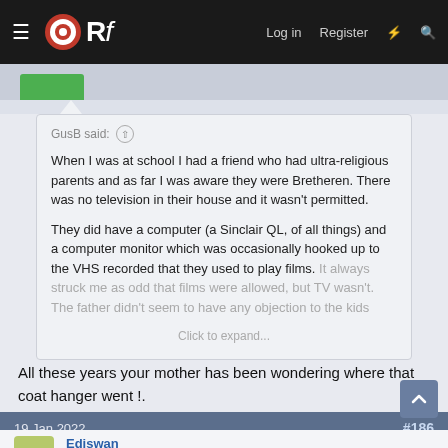ORf — Log in  Register
GusB said: ↑
When I was at school I had a friend who had ultra-religious parents and as far I was aware they were Bretheren. There was no television in their house and it wasn't permitted.

They did have a computer (a Sinclair QL, of all things) and a computer monitor which was occasionally hooked up to the VHS recorded that they used to play films. It always struck me as odd that films were allowed, but TV wasn't. The father didn't seem to have any objection to the kids
Click to expand...
All these years your mother has been wondering where that coat hanger went !.
19 Jan 2022  #186
Ediswan
Established Member